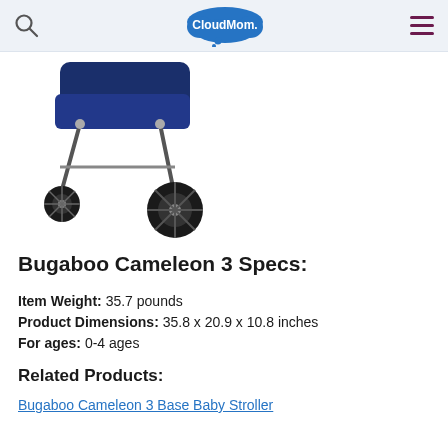CloudMom
[Figure (photo): Partial view of a Bugaboo Cameleon 3 baby stroller in navy blue, showing the wheels and lower frame against a white background.]
Bugaboo Cameleon 3 Specs:
Item Weight: 35.7 pounds
Product Dimensions: 35.8 x 20.9 x 10.8 inches
For ages: 0-4 ages
Related Products:
Bugaboo Cameleon 3 Base Baby Stroller